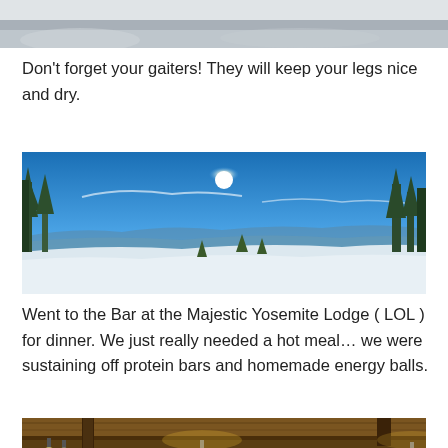[Figure (photo): Top portion of a snowy scene, cropped at the top of the page]
Don’t forget your gaiters! They will keep your legs nice and dry.
[Figure (photo): Panoramic winter mountain scene with snow-covered ground, conifer trees, bright sun, and blue sky at Yosemite]
Went to the Bar at the Majestic Yosemite Lodge ( LOL ) for dinner. We just really needed a hot meal… we were sustaining off protein bars and homemade energy balls.
[Figure (photo): Interior of a bar/restaurant with wooden ceiling, pendant lights, and warm lighting]